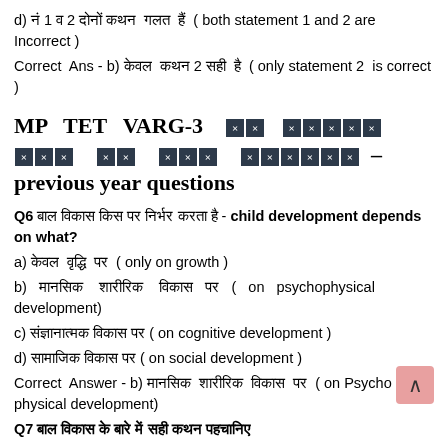d) [Hindi] 1 व 2 दोनों कथन गलत हैं ( both statement 1 and 2 are Incorrect )
Correct Ans - b) [Hindi] केवल कथन 2 सही है ( only statement 2 is correct )
MP TET VARG-3 के पिछले वर्षों के प्रश्न - previous year questions
Q6 बाल विकास किस पर निर्भर करता है - child development depends on what?
a) केवल वृद्धि पर ( only on growth )
b) मानसिक शारीरिक विकास पर ( on psychophysical development)
c) संज्ञानात्मक विकास पर ( on cognitive development )
d) सामाजिक विकास पर ( on social development )
Correct Answer - b) मानसिक शारीरिक विकास पर ( on Psycho physical development)
Q7 [Hindi text partial]